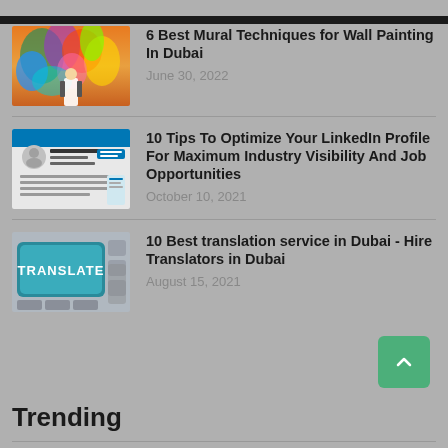[Figure (illustration): Colorful mural artwork with a person standing in front of a vibrant bird/nature painting]
6 Best Mural Techniques for Wall Painting In Dubai
June 30, 2022
[Figure (screenshot): Screenshot of a LinkedIn profile page]
10 Tips To Optimize Your LinkedIn Profile For Maximum Industry Visibility And Job Opportunities
October 10, 2021
[Figure (photo): Photo of keyboard keys with a teal TRANSLATE key prominently visible]
10 Best translation service in Dubai - Hire Translators in Dubai
August 15, 2021
Trending